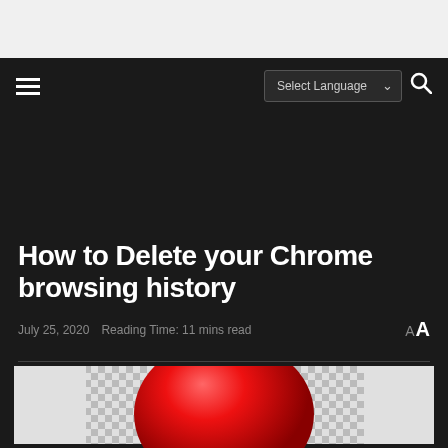≡  Select Language ∨  🔍
How to Delete your Chrome browsing history
July 25, 2020   Reading Time: 11 mins read
[Figure (screenshot): Partial view of a Chrome browser icon (red circle/sphere) on a checkered background with green bar at bottom]